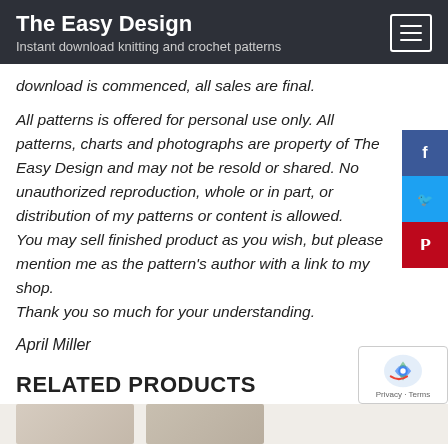The Easy Design
Instant download knitting and crochet patterns
download is commenced, all sales are final.
All patterns is offered for personal use only. All patterns, charts and photographs are property of The Easy Design and may not be resold or shared. No unauthorized reproduction, whole or in part, or distribution of my patterns or content is allowed.
You may sell finished product as you wish, but please mention me as the pattern's author with a link to my shop.
Thank you so much for your understanding.
April Miller
RELATED PRODUCTS